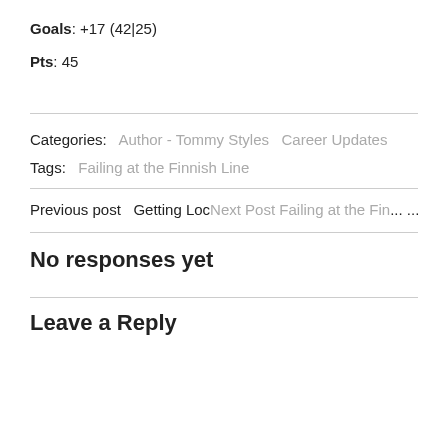Goals: +17 (42|25)
Pts: 45
Categories:  Author - Tommy Styles  Career Updates
Tags:  Failing at the Finnish Line
Previous post  Getting Loc...   Next Post  Failing at the Fin...
No responses yet
Leave a Reply